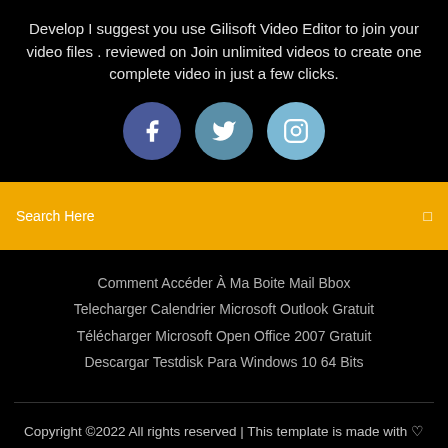Develop I suggest you use Gilisoft Video Editor to join your video files . reviewed on Join unlimited videos to create one complete video in just a few clicks.
[Figure (infographic): Three social media icons: Facebook (dark blue circle with f), Twitter (medium blue circle with bird), Instagram (light blue circle with camera outline)]
Search Here
Comment Accéder À Ma Boite Mail Bbox
Telecharger Calendrier Microsoft Outlook Gratuit
Télécharger Microsoft Open Office 2007 Gratuit
Descargar Testdisk Para Windows 10 64 Bits
Copyright ©2022 All rights reserved | This template is made with ♡ by Colorlib